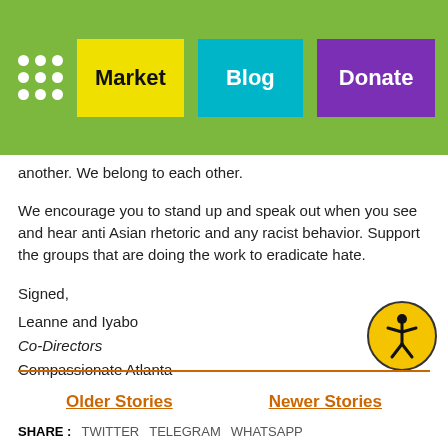Market | Blog | Donate
another. We belong to each other.
We encourage you to stand up and speak out when you see and hear anti Asian rhetoric and any racist behavior. Support the groups that are doing the work to eradicate hate.
Signed,
Leanne and Iyabo
Co-Directors
Compassionate Atlanta
Older Stories
Newer Stories
SHARE : TWITTER  TELEGRAM  WHATSAPP